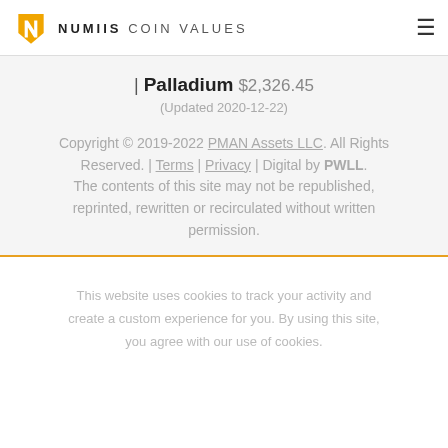NUMIIS COIN VALUES
| Palladium $2,326.45
(Updated 2020-12-22)
Copyright © 2019-2022 PMAN Assets LLC. All Rights Reserved. | Terms | Privacy | Digital by PWLL. The contents of this site may not be republished, reprinted, rewritten or recirculated without written permission.
This website uses cookies to track your activity and create a custom experience for you. By using this site, you agree with our use of cookies.